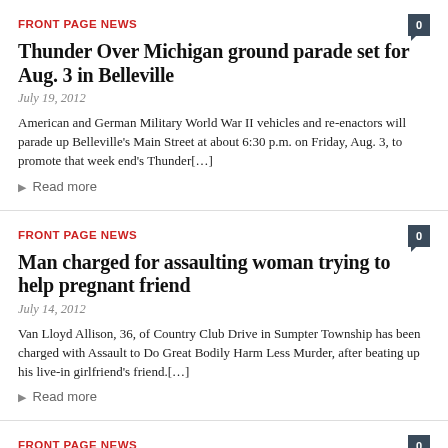FRONT PAGE NEWS
Thunder Over Michigan ground parade set for Aug. 3 in Belleville
July 19, 2012
American and German Military World War II vehicles and re-enactors will parade up Belleville's Main Street at about 6:30 p.m. on Friday, Aug. 3, to promote that week end's Thunder[...]
Read more
FRONT PAGE NEWS
Man charged for assaulting woman trying to help pregnant friend
July 14, 2012
Van Lloyd Allison, 36, of Country Club Drive in Sumpter Township has been charged with Assault to Do Great Bodily Harm Less Murder, after beating up his live-in girlfriend's friend.[...]
Read more
FRONT PAGE NEWS